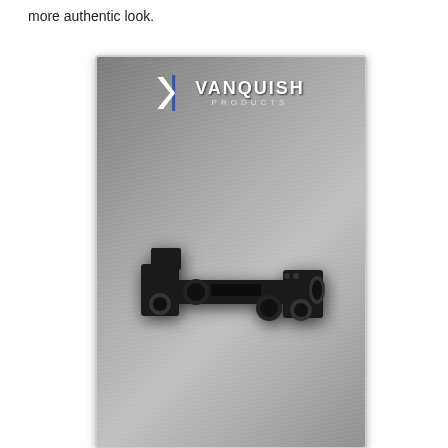more authentic look.
[Figure (photo): Product photo of a Vanquish Products black anodized aluminum RC car part (front bumper or axle link bracket), displayed on a brushed metal gray background with the Vanquish Products logo in the upper portion of the image.]